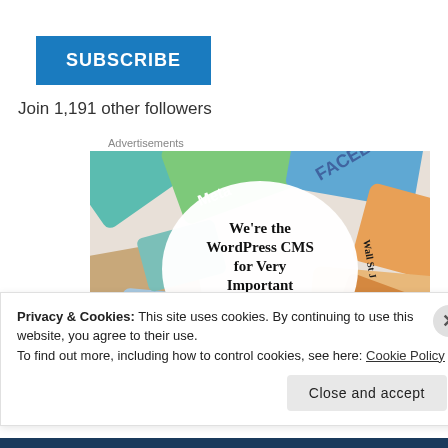SUBSCRIBE
Join 1,191 other followers
Advertisements
[Figure (illustration): WordPress VIP advertisement image showing various media brand logos/cards arranged in a circle with center white circle containing text: We're the WordPress CMS for Very Important Content, with WordPress VIP logo at bottom.]
Privacy & Cookies: This site uses cookies. By continuing to use this website, you agree to their use.
To find out more, including how to control cookies, see here: Cookie Policy
Close and accept